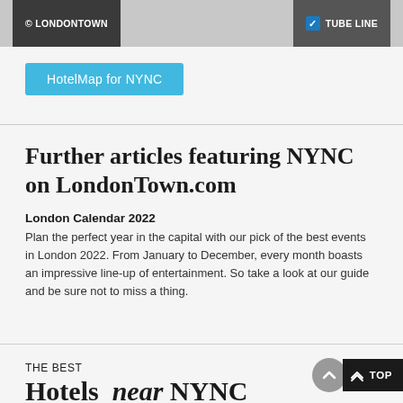© LONDONTOWN   ✓ TUBE LINE
[Figure (other): HotelMap for NYNC button — sky-blue rounded rectangle]
Further articles featuring NYNC on LondonTown.com
London Calendar 2022
Plan the perfect year in the capital with our pick of the best events in London 2022. From January to December, every month boasts an impressive line-up of entertainment. So take a look at our guide and be sure not to miss a thing.
THE BEST
Hotels near NYNC
Near NYNC